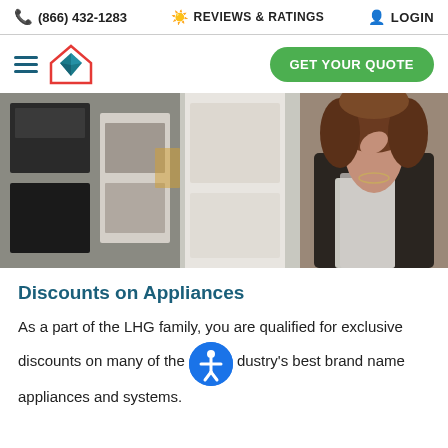(866) 432-1283   REVIEWS & RATINGS   LOGIN
[Figure (logo): House/home logo icon with teal diamond shape inside red house outline, with hamburger menu lines to left]
[Figure (photo): Woman with curly hair looking at kitchen appliances including oven/refrigerator in a showroom]
Discounts on Appliances
As a part of the LHG family, you are qualified for exclusive discounts on many of the industry's best brand name appliances and systems.